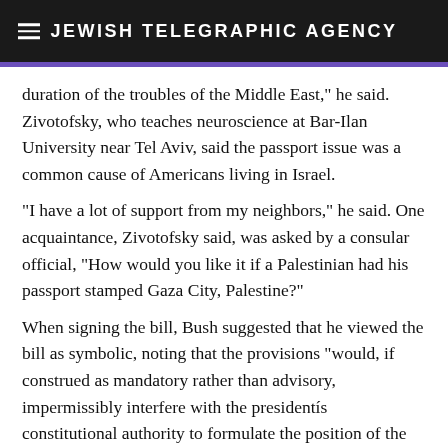JEWISH TELEGRAPHIC AGENCY
duration of the troubles of the Middle East," he said. Zivotofsky, who teaches neuroscience at Bar-Ilan University near Tel Aviv, said the passport issue was a common cause of Americans living in Israel.
"I have a lot of support from my neighbors," he said. One acquaintance, Zivotofsky said, was asked by a consular official, "How would you like it if a Palestinian had his passport stamped Gaza City, Palestine?"
When signing the bill, Bush suggested that he viewed the bill as symbolic, noting that the provisions "would, if construed as mandatory rather than advisory, impermissibly interfere with the presidentís constitutional authority to formulate the position of the United States, speak for the nation in international affairs and determine the terms on which recognition is given to foreign states."